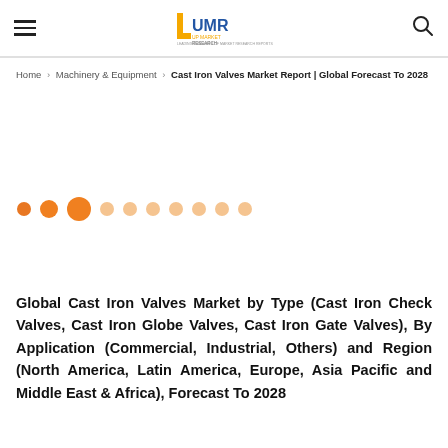UMR Up Market Research — Hamburger menu, Logo, Search icon
Home > Machinery & Equipment > Cast Iron Valves Market Report | Global Forecast To 2028
[Figure (other): Pagination dots carousel: 3 solid orange dots (small, medium, large) followed by 7 lighter/faded orange dots]
Global Cast Iron Valves Market by Type (Cast Iron Check Valves, Cast Iron Globe Valves, Cast Iron Gate Valves), By Application (Commercial, Industrial, Others) and Region (North America, Latin America, Europe, Asia Pacific and Middle East & Africa), Forecast To 2028